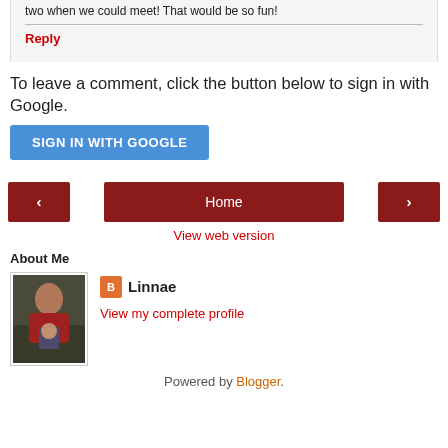two when we could meet! That would be so fun!
Reply
To leave a comment, click the button below to sign in with Google.
SIGN IN WITH GOOGLE
‹
Home
›
View web version
About Me
[Figure (photo): Profile photo of Linnae, a woman holding a child, outdoors]
Linnae
View my complete profile
Powered by Blogger.